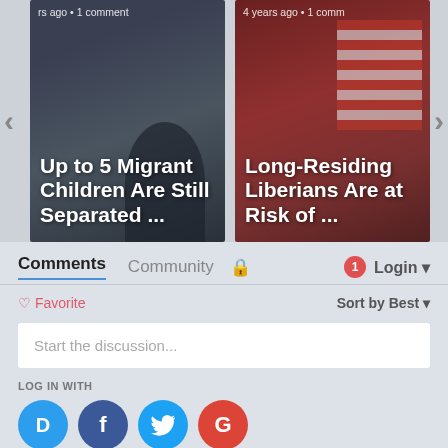[Figure (screenshot): News article carousel showing two article thumbnails. Left card: 'Up to 5 Migrant Children Are Still Separated ...' with dark image. Right card: 'Long-Residing Liberians Are at Risk of ...' with American flag image. Both show '4 years ago • 1 comment' metadata. Left/right navigation arrows visible.]
Comments  Community  🔒  1  Login
♡ Favorite  Sort by Best
Start the discussion...
LOG IN WITH
OR SIGN UP WITH DISQUS ?
Name